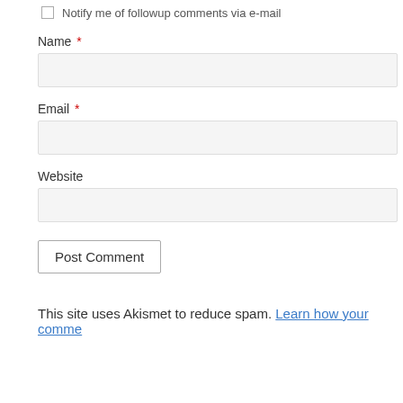Notify me of followup comments via e-mail
Name *
Email *
Website
Post Comment
This site uses Akismet to reduce spam. Learn how your comme…